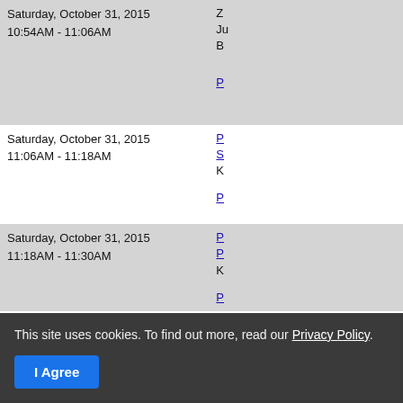| Date/Time | Details |
| --- | --- |
| Saturday, October 31, 2015
10:54AM - 11:06AM | Z
Ju
B
[P link] |
| Saturday, October 31, 2015
11:06AM - 11:18AM | [P link]
[S link]
K
[P link] |
| Saturday, October 31, 2015
11:18AM - 11:30AM | [P link]
[P link]
K
[P link] |
| Saturday, October 31, 2015
11:30AM - 11:42AM | [P link]
[P link]
D
[P link] |
| Saturday, October 31, 2015
11:42AM - 11:54AM | [P link]
[P link]
E
[P link] |
| Saturday, October 31, 2015
11:54AM - 12:06PM | [P link]
[A...] |
| Saturday, October 31, 2015
12:06PM - 12:18PM | [P link]
[S...] |
This site uses cookies. To find out more, read our Privacy Policy.
I Agree